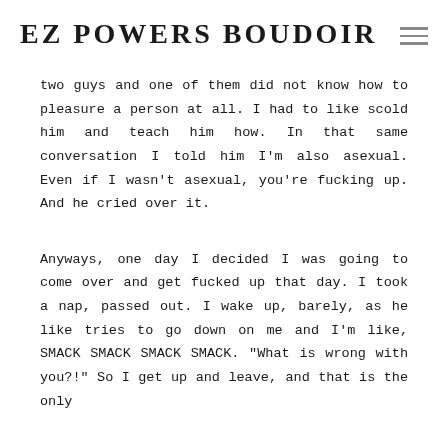EZ POWERS BOUDOIR
two guys and one of them did not know how to pleasure a person at all. I had to like scold him and teach him how. In that same conversation I told him I'm also asexual. Even if I wasn't asexual, you're fucking up. And he cried over it.
Anyways, one day I decided I was going to come over and get fucked up that day. I took a nap, passed out. I wake up, barely, as he like tries to go down on me and I'm like, SMACK SMACK SMACK SMACK. "What is wrong with you?!" So I get up and leave, and that is the only